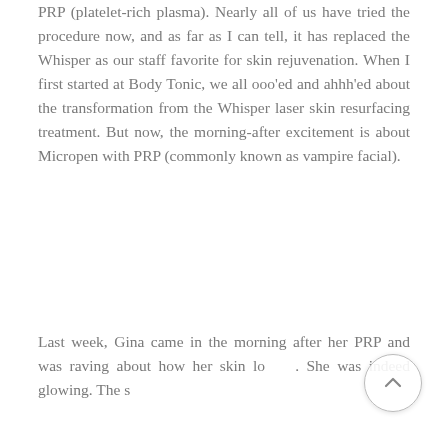PRP (platelet-rich plasma). Nearly all of us have tried the procedure now, and as far as I can tell, it has replaced the Whisper as our staff favorite for skin rejuvenation. When I first started at Body Tonic, we all ooo'ed and ahhh'ed about the transformation from the Whisper laser skin resurfacing treatment. But now, the morning-after excitement is about Micropen with PRP (commonly known as vampire facial).
Last week, Gina came in the morning after her PRP and was raving about how her skin lo[oked]. She was indeed glowing. The sa[me]